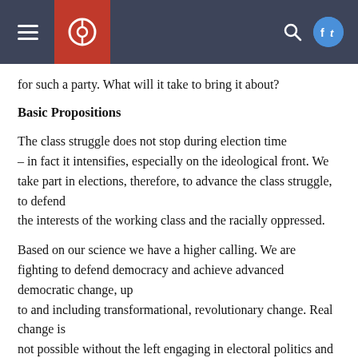[Navigation header with hamburger menu, logo, search icon, and social media icons]
for such a party. What will it take to bring it about?
Basic Propositions
The class struggle does not stop during election time – in fact it intensifies, especially on the ideological front. We take part in elections, therefore, to advance the class struggle, to defend the interests of the working class and the racially oppressed.
Based on our science we have a higher calling. We are fighting to defend democracy and achieve advanced democratic change, up to and including transformational, revolutionary change. Real change is not possible without the left engaging in electoral politics and the left cannot build its mass base without participation in electoral
cannot build its mass base without participation in electoral